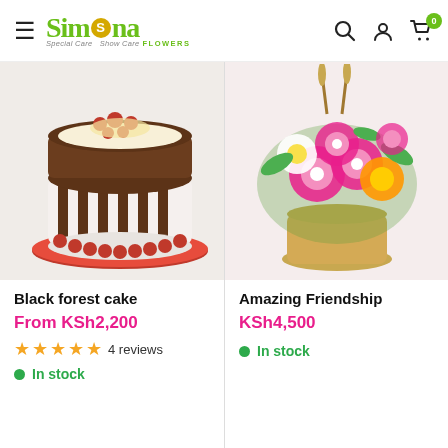Simona Flowers - navigation header with hamburger menu, logo, search, account, and cart icons
[Figure (photo): Black forest cake with chocolate sides, red berries on top, on a red decorated plate]
Black forest cake
From KSh2,200
4 reviews (5 stars)
In stock
[Figure (photo): Amazing Friendship flower arrangement with pink, orange and white flowers in a basket]
Amazing Friendship
KSh4,500
In stock